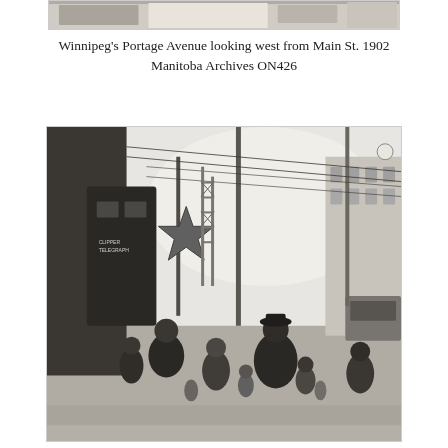[Figure (photo): Top portion of a historical black-and-white photograph, partially cropped at top of page.]
Winnipeg's Portage Avenue looking west from Main St. 1902
Manitoba Archives ON426
[Figure (photo): Historical black-and-white photograph of Winnipeg's Portage Avenue looking west from Main Street in 1902. People in winter clothing walk along the sidewalk. Utility poles and telegraph wires line the street. Buildings and a streetcar are visible in the background. A decorative star shape hangs from one of the buildings on the left side. The scene captures early 20th century urban life in Winnipeg, Manitoba.]